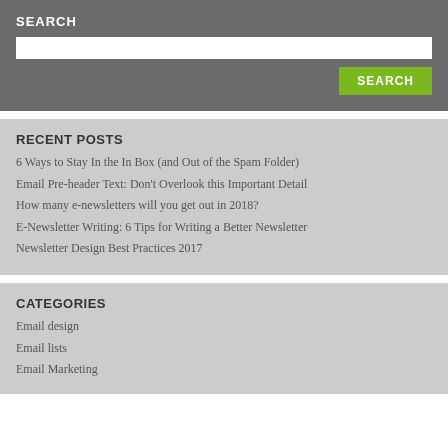SEARCH
[Figure (screenshot): Search input field and search button on grey background]
RECENT POSTS
6 Ways to Stay In the In Box (and Out of the Spam Folder)
Email Pre-header Text: Don't Overlook this Important Detail
How many e-newsletters will you get out in 2018?
E-Newsletter Writing: 6 Tips for Writing a Better Newsletter
Newsletter Design Best Practices 2017
CATEGORIES
Email design
Email lists
Email Marketing